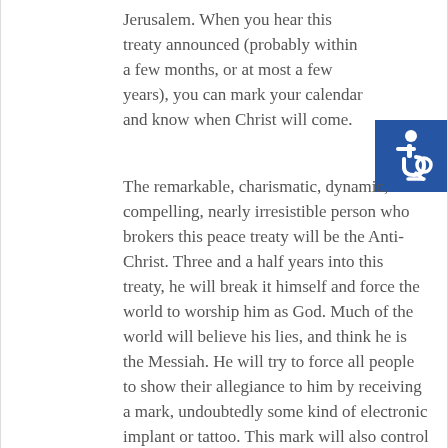Jerusalem. When you hear this treaty announced (probably within a few months, or at most a few years), you can mark your calendar and know when Christ will come.
The remarkable, charismatic, dynamic, compelling, nearly irresistible person who brokers this peace treaty will be the Anti-Christ. Three and a half years into this treaty, he will break it himself and force the world to worship him as God. Much of the world will believe his lies, and think he is the Messiah. He will try to force all people to show their allegiance to him by receiving a mark, undoubtedly some kind of electronic implant or tattoo. This mark will also control all your financial transactions.
[Figure (illustration): Accessibility icon — white wheelchair symbol on blue square background]